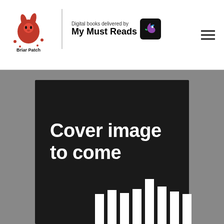[Figure (logo): The Briar Patch bookstore logo with rabbit mascot illustration and text 'The Briar Patch']
Digital books delivered by My Must Reads
[Figure (logo): My Must Reads hummingbird logo icon in dark square]
[Figure (illustration): Book placeholder cover with dark background, text 'Cover image to come' in white, and barcode-style vertical bars at bottom]